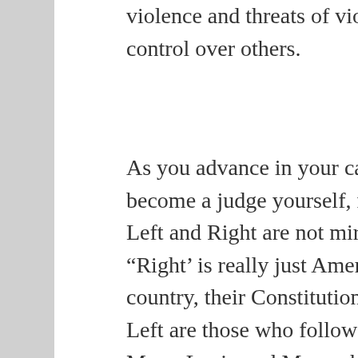violence and threats of violence, to gain control over others.
As you advance in your career, and perhaps become a judge yourself, remember that the Left and Right are not mirror images. The “Right’ is really just Americans, who love their country, their Constitution and their God. The Left are those who follow the violent lies of Marx, Lenin and Mao, which have taken millions of innocent lives in the last century. So when I Leftist is an